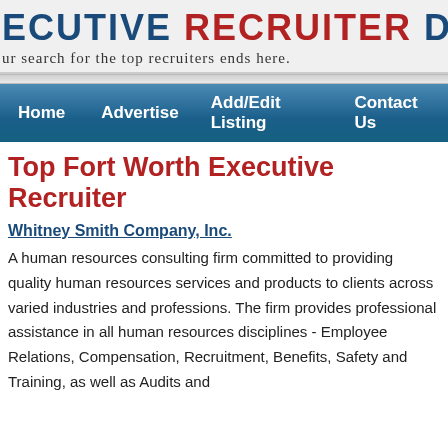EXECUTIVE RECRUITER DIRECTORY — Your search for the top recruiters ends here.
Home   Advertise   Add/Edit Listing   Contact Us
Top Fort Worth Executive Recruiter
Whitney Smith Company, Inc.
A human resources consulting firm committed to providing quality human resources services and products to clients across varied industries and professions. The firm provides professional assistance in all human resources disciplines - Employee Relations, Compensation, Recruitment, Benefits, Safety and Training, as well as Audits and